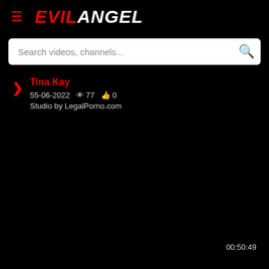EVIL ANGEL
Search videos, channels...
Tina Kay
35-06-2022  77  0
Studio by LegalPorno.com
[Figure (screenshot): Dark video thumbnail area with play chevron button on left side]
00:50:49